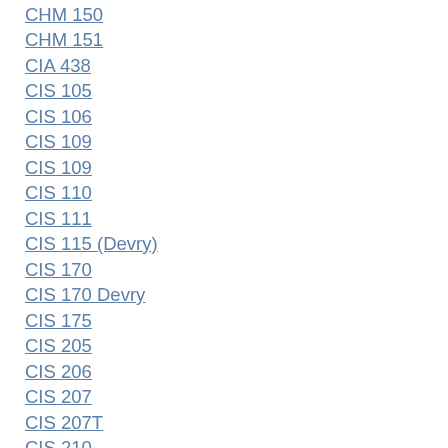CHM 150
CHM 151
CIA 438
CIS 105
CIS 106
CIS 109
CIS 109
CIS 110
CIS 111
CIS 115 (Devry)
CIS 170
CIS 170 Devry
CIS 175
CIS 205
CIS 206
CIS 207
CIS 207T
CIS 210
CIS 211